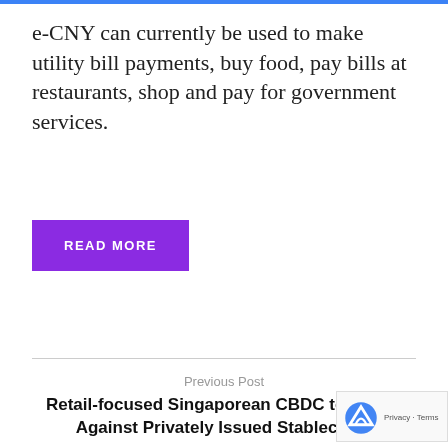e-CNY can currently be used to make utility bill payments, buy food, pay bills at restaurants, shop and pay for government services.
READ MORE
Previous Post
Retail-focused Singaporean CBDC to Hedge Against Privately Issued Stablecoins
Next Post
Bank of England Sets Timeline for Digital Currency Probe